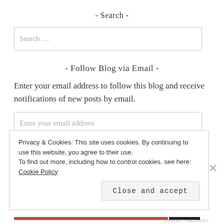- Search -
Search …
- Follow Blog via Email -
Enter your email address to follow this blog and receive notifications of new posts by email.
Enter your email address
Privacy & Cookies: This site uses cookies. By continuing to use this website, you agree to their use.
To find out more, including how to control cookies, see here: Cookie Policy
Close and accept